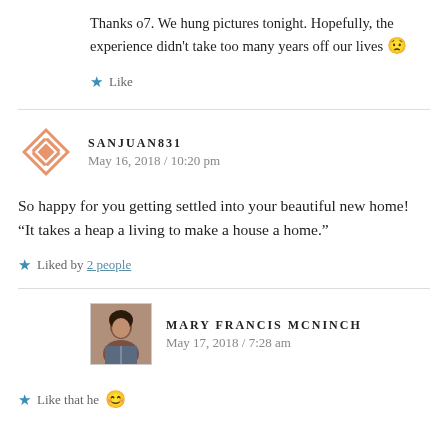Thanks 07. We hung pictures tonight. Hopefully, the experience didn't take too many years off our lives 😟
★ Like
SANJUAN831
May 16, 2018 / 10:20 pm
So happy for you getting settled into your beautiful new home! "It takes a heap a living to make a house a home."
★ Liked by 2 people
MARY FRANCIS MCNINCH
May 17, 2018 / 7:28 am